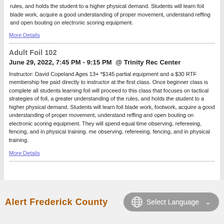rules, and holds the student to a higher physical demand. Students will learn foil blade work, acquire a good understanding of proper movement, understand reffing and open bouting on electronic scoring equipment.
More Details
Adult Foil 102
June 29, 2022, 7:45 PM - 9:15 PM  @ Trinity Rec Center
Instructor: David Copeland Ages 13+ *$145 partial equipment and a $30 RTF membership fee paid directly to instructor at the first class. Once beginner class is complete all students learning foil will proceed to this class that focuses on tactical strategies of foil, a greater understanding of the rules, and holds the student to a higher physical demand. Students will learn foil blade work, footwork, acquire a good understanding of proper movement, understand reffing and open bouting on electronic scoring equipment. They will spend equal time observing, refereeing, fencing, and in physical training. me observing, refereeing, fencing, and in physical training.
More Details
Alert Frederick County  |  Select Language